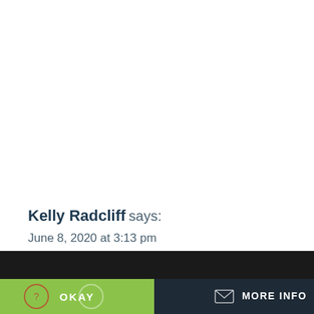Kelly Radcliff says:
June 8, 2020 at 3:13 pm
This website uses cookies
OKAY
MORE INFO